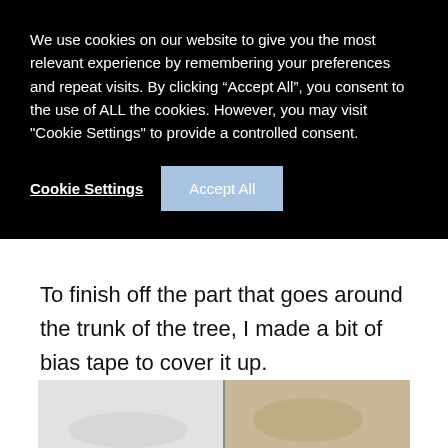We use cookies on our website to give you the most relevant experience by remembering your preferences and repeat visits. By clicking “Accept All”, you consent to the use of ALL the cookies. However, you may visit "Cookie Settings" to provide a controlled consent.
Cookie Settings   Accept All
To finish off the part that goes around the trunk of the tree, I made a bit of bias tape to cover it up.
[Figure (photo): A partially visible photograph showing what appears to be fabric or crafting materials, cropped at the bottom of the page.]